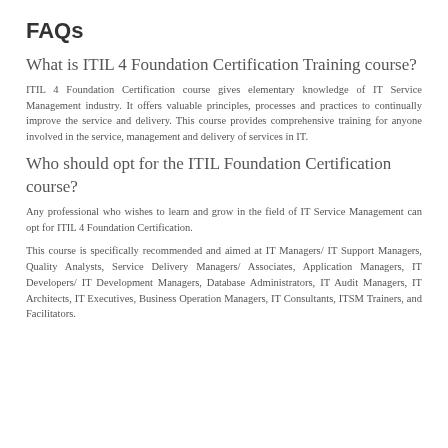FAQs
What is ITIL 4 Foundation Certification Training course?
ITIL 4 Foundation Certification course gives elementary knowledge of IT Service Management industry. It offers valuable principles, processes and practices to continually improve the service and delivery. This course provides comprehensive training for anyone involved in the service, management and delivery of services in IT.
Who should opt for the ITIL Foundation Certification course?
Any professional who wishes to learn and grow in the field of IT Service Management can opt for ITIL 4 Foundation Certification.
This course is specifically recommended and aimed at IT Managers/ IT Support Managers, Quality Analysts, Service Delivery Managers/ Associates, Application Managers, IT Developers/ IT Development Managers, Database Administrators, IT Audit Managers, IT Architects, IT Executives, Business Operation Managers, IT Consultants, ITSM Trainers, and Facilitators.